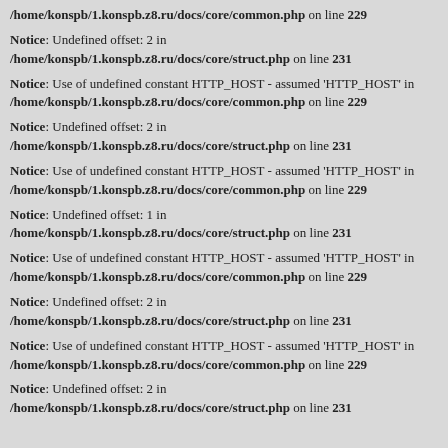/home/konspb/1.konspb.z8.ru/docs/core/common.php on line 229
Notice: Undefined offset: 2 in /home/konspb/1.konspb.z8.ru/docs/core/struct.php on line 231
Notice: Use of undefined constant HTTP_HOST - assumed 'HTTP_HOST' in /home/konspb/1.konspb.z8.ru/docs/core/common.php on line 229
Notice: Undefined offset: 2 in /home/konspb/1.konspb.z8.ru/docs/core/struct.php on line 231
Notice: Use of undefined constant HTTP_HOST - assumed 'HTTP_HOST' in /home/konspb/1.konspb.z8.ru/docs/core/common.php on line 229
Notice: Undefined offset: 1 in /home/konspb/1.konspb.z8.ru/docs/core/struct.php on line 231
Notice: Use of undefined constant HTTP_HOST - assumed 'HTTP_HOST' in /home/konspb/1.konspb.z8.ru/docs/core/common.php on line 229
Notice: Undefined offset: 2 in /home/konspb/1.konspb.z8.ru/docs/core/struct.php on line 231
Notice: Use of undefined constant HTTP_HOST - assumed 'HTTP_HOST' in /home/konspb/1.konspb.z8.ru/docs/core/common.php on line 229
Notice: Undefined offset: 2 in /home/konspb/1.konspb.z8.ru/docs/core/struct.php on line 231